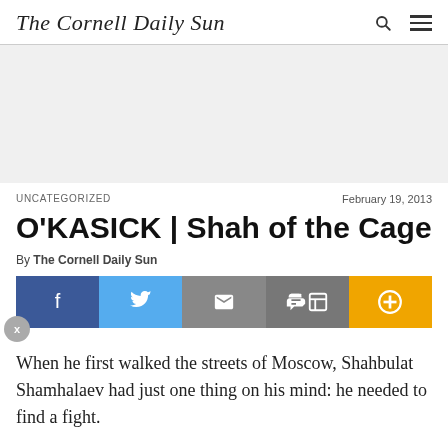The Cornell Daily Sun
UNCATEGORIZED   February 19, 2013
O'KASICK | Shah of the Cage
By The Cornell Daily Sun
When he first walked the streets of Moscow, Shahbulat Shamhalaev had just one thing on his mind: he needed to find a fight.